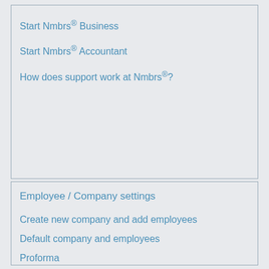Start Nmbrs® Business
Start Nmbrs® Accountant
How does support work at Nmbrs®?
Employee / Company settings
Create new company and add employees
Default company and employees
Proforma